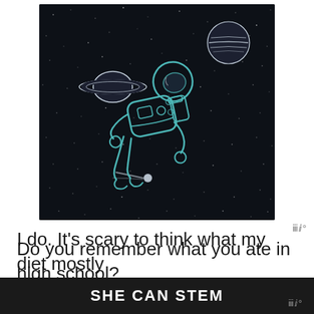[Figure (illustration): Dark space illustration showing an astronaut floating weightlessly among planets (Saturn with rings, a gas giant), stars, and a comet on a deep dark navy/black background. The astronaut is drawn in a teal/cyan outline style, floating diagonally.]
Do you remember what you ate in high school?
I do. It's scary to think what my diet mostly co...ers,
SHE CAN STEM